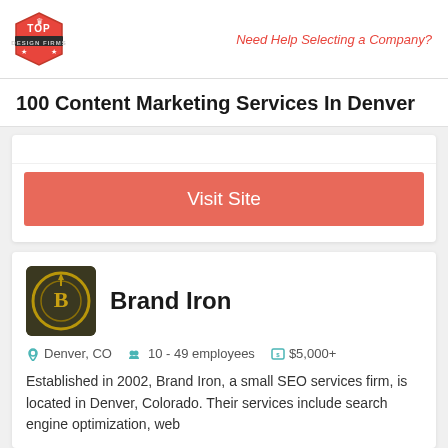Top Design Firms | Need Help Selecting a Company?
100 Content Marketing Services In Denver
Visit Site
[Figure (logo): Brand Iron company logo — circular gold/dark design with B symbol]
Brand Iron
Denver, CO   10 - 49 employees   $5,000+
Established in 2002, Brand Iron, a small SEO services firm, is located in Denver, Colorado. Their services include search engine optimization, web